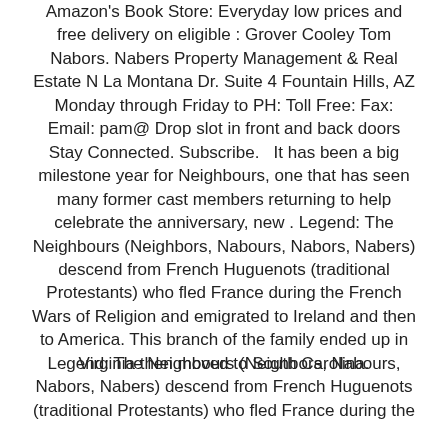Amazon's Book Store: Everyday low prices and free delivery on eligible : Grover Cooley Tom Nabors. Nabers Property Management & Real Estate N La Montana Dr. Suite 4 Fountain Hills, AZ Monday through Friday to PH: Toll Free: Fax: Email: pam@ Drop slot in front and back doors Stay Connected. Subscribe.   It has been a big milestone year for Neighbours, one that has seen many former cast members returning to help celebrate the anniversary, new . Legend: The Neighbours (Neighbors, Nabours, Nabors, Nabers) descend from French Huguenots (traditional Protestants) who fled France during the French Wars of Religion and emigrated to Ireland and then to America. This branch of the family ended up in Virginia then moved to South Carolina.
Legend: The Neighbours (Neighbors, Nabours, Nabors, Nabers) descend from French Huguenots (traditional Protestants) who fled France during the